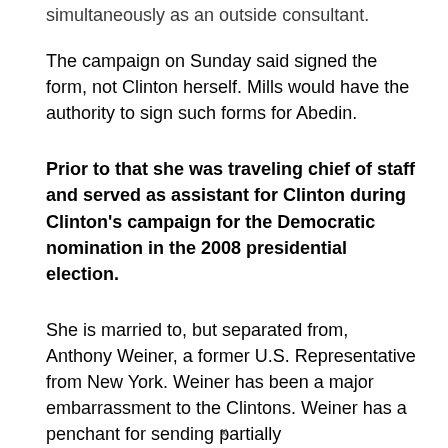simultaneously as an outside consultant.
The campaign on Sunday said signed the form, not Clinton herself. Mills would have the authority to sign such forms for Abedin.
Prior to that she was traveling chief of staff and served as assistant for Clinton during Clinton's campaign for the Democratic nomination in the 2008 presidential election.
She is married to, but separated from, Anthony Weiner, a former U.S. Representative from New York. Weiner has been a major embarrassment to the Clintons. Weiner has a penchant for sending partially
x